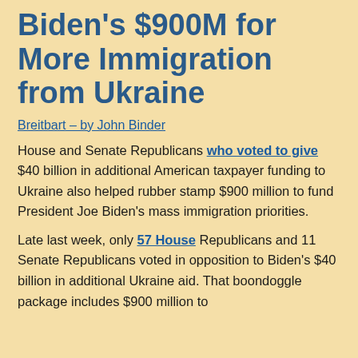Biden's $900M for More Immigration from Ukraine
Breitbart – by John Binder
House and Senate Republicans who voted to give $40 billion in additional American taxpayer funding to Ukraine also helped rubber stamp $900 million to fund President Joe Biden's mass immigration priorities.
Late last week, only 57 House Republicans and 11 Senate Republicans voted in opposition to Biden's $40 billion in additional Ukraine aid. That boondoggle package includes $900 million to